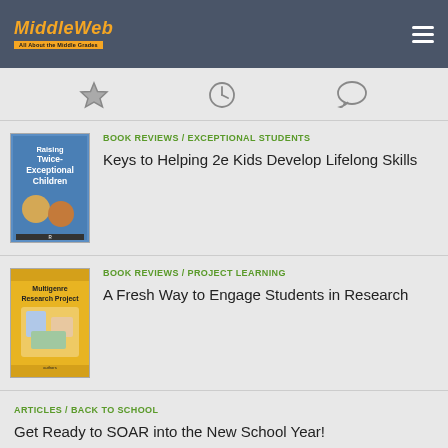MiddleWeb
[Figure (infographic): Three icons: star, clock, speech bubble — navigation icons]
[Figure (photo): Book cover: Raising Twice-Exceptional Children]
BOOK REVIEWS / EXCEPTIONAL STUDENTS
Keys to Helping 2e Kids Develop Lifelong Skills
[Figure (photo): Book cover: Multigenre Research Project]
BOOK REVIEWS / PROJECT LEARNING
A Fresh Way to Engage Students in Research
ARTICLES / BACK TO SCHOOL
Get Ready to SOAR into the New School Year!
NEW STEM TEACHERS / STEM BY DESIGN